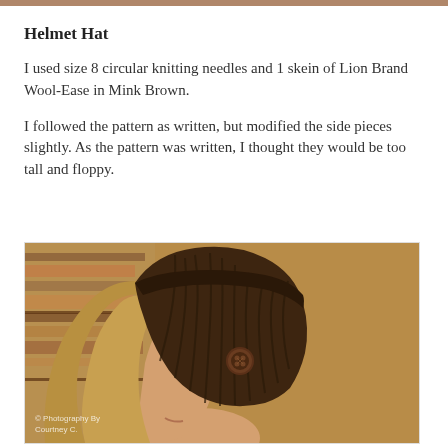Helmet Hat
I used size 8 circular knitting needles and 1 skein of Lion Brand Wool-Ease in Mink Brown.
I followed the pattern as written, but modified the side pieces slightly. As the pattern was written, I thought they would be too tall and floppy.
[Figure (photo): Side profile of a woman wearing a dark brown ribbed knit helmet hat with a large brown button on the side. Background shows blurred bookshelves. Photo credit: Photography By Courtney C.]